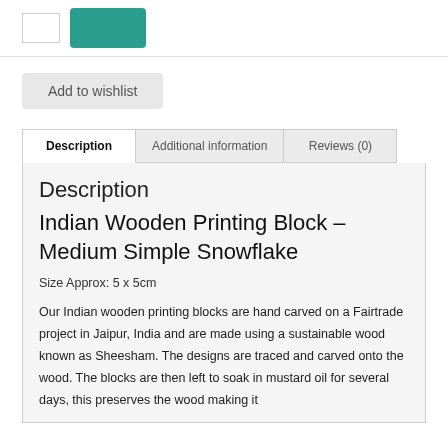[Figure (other): Quantity input box and Add to Cart button (teal/green)]
Add to wishlist
Description
Additional information
Reviews (0)
Description
Indian Wooden Printing Block – Medium Simple Snowflake
Size Approx: 5 x 5cm
Our Indian wooden printing blocks are hand carved on a Fairtrade project in Jaipur, India and are made using a sustainable wood known as Sheesham. The designs are traced and carved onto the wood. The blocks are then left to soak in mustard oil for several days, this preserves the wood making it